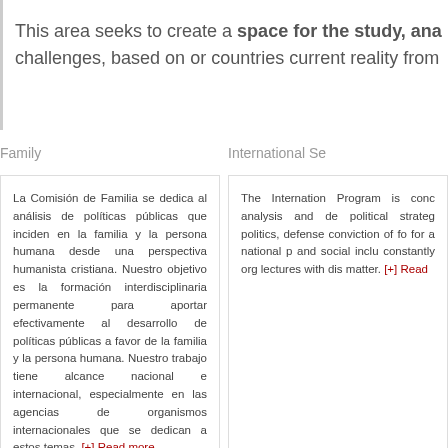This area seeks to create a space for the study, ana challenges, based on or countries current reality from
Family
La Comisión de Familia se dedica al análisis de políticas públicas que inciden en la familia y la persona humana desde una perspectiva humanista cristiana. Nuestro objetivo es la formación interdisciplinaria permanente para aportar efectivamente al desarrollo de políticas públicas a favor de la familia y la persona humana. Nuestro trabajo tiene alcance nacional e internacional, especialmente en las agencias de organismos internacionales que se dedican a estos temas. [+] Read more...
International Se
The Internation Program is conc analysis and de political strateg politics, defense conviction of fo for a national p and social inclu constantly org lectures with dis matter. [+] Read